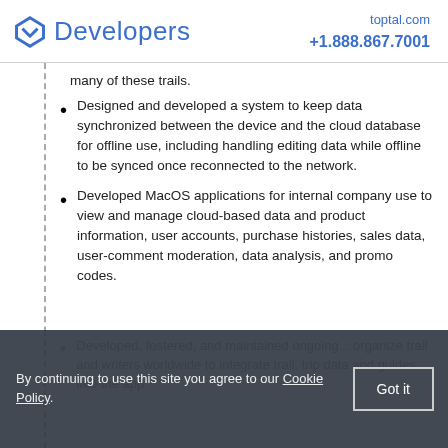Developers | toptal.com +1.888.867.7001
many of these trails.
Designed and developed a system to keep data synchronized between the device and the cloud database for offline use, including handling editing data while offline to be synced once reconnected to the network.
Developed MacOS applications for internal company use to view and manage cloud-based data and product information, user accounts, purchase histories, sales data, user-comment moderation, data analysis, and promo codes.
By continuing to use this site you agree to our Cookie Policy.
Developed, fostered, and maintained ongoing... writers worldwide to integrate trail, trip data and guides into the app.